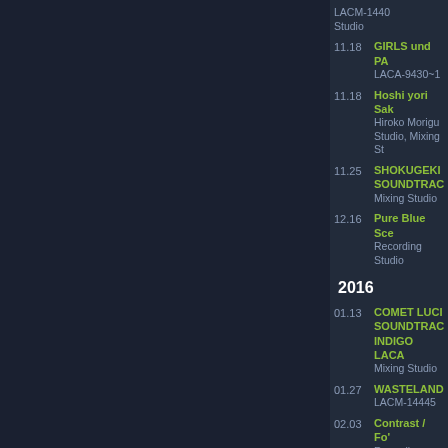11.18 GIRLS und PA... LACA-9430~1
11.18 Hoshi yori Sak... Hiroko Morigu... Studio, Mixing St...
11.25 SHOKUGEKI... SOUNDTRAC... Mixing Studio
12.16 Pure Blue Sce... Recording Studio...
2016
01.13 COMET LUCI... SOUNDTRAC... INDIGO LACA... Mixing Studio
01.27 WASTELAND... LACM-14445
02.03 Contrast / Fo'... Recording Studio...
02.03 hopeness / ZA... LACM-14447
02.03 hopeness / ZA... LACM-34447